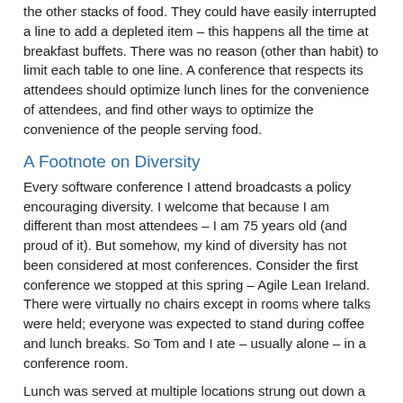the other stacks of food. They could have easily interrupted a line to add a depleted item – this happens all the time at breakfast buffets. There was no reason (other than habit) to limit each table to one line. A conference that respects its attendees should optimize lunch lines for the convenience of attendees, and find other ways to optimize the convenience of the people serving food.
A Footnote on Diversity
Every software conference I attend broadcasts a policy encouraging diversity. I welcome that because I am different than most attendees – I am 75 years old (and proud of it). But somehow, my kind of diversity has not been considered at most conferences. Consider the first conference we stopped at this spring – Agile Lean Ireland. There were virtually no chairs except in rooms where talks were held; everyone was expected to stand during coffee and lunch breaks. So Tom and I ate – usually alone – in a conference room.
Lunch was served at multiple locations strung out down a long hallway. The station furthest from the conference rooms